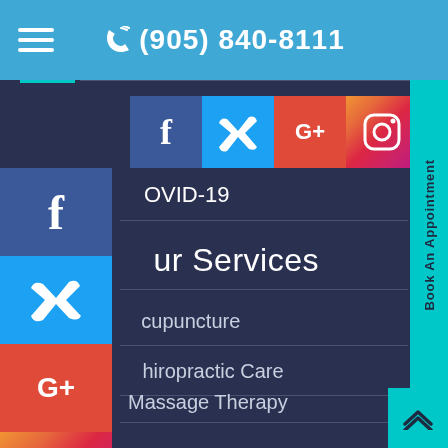(905) 840-8111
[Figure (screenshot): Social media icons: Facebook, Twitter, Google+, Instagram in a horizontal row]
[Figure (screenshot): Vertical social media icon strip on left: Facebook, Twitter, Google+, Instagram]
COVID-19
Our Services
Acupuncture
Chiropractic Care
Massage Therapy
Orthotics & Braces
Physiotherapy